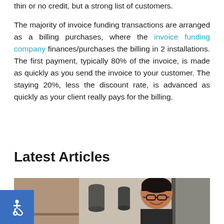thin or no credit, but a strong list of customers.
The majority of invoice funding transactions are arranged as a billing purchases, where the invoice funding company finances/purchases the billing in 2 installations. The first payment, typically 80% of the invoice, is made as quickly as you send the invoice to your customer. The staying 20%, less the discount rate, is advanced as quickly as your client really pays for the billing.
Latest Articles
[Figure (photo): Photo of a smiling professional woman with glasses and dark hair pulled back, in an office setting with decorative vases on a shelf in the background]